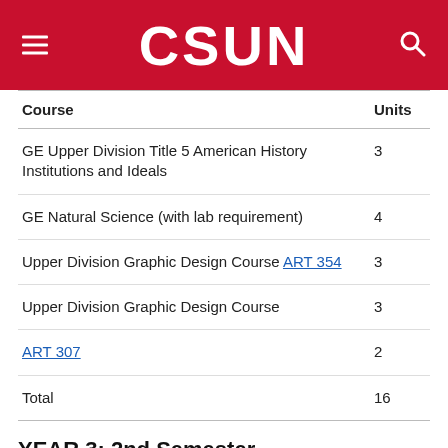[Figure (logo): CSUN university header with red background, hamburger menu icon on left, CSUN logo in center, search icon on right]
| Course | Units |
| --- | --- |
| GE Upper Division Title 5 American History Institutions and Ideals | 3 |
| GE Natural Science (with lab requirement) | 4 |
| Upper Division Graphic Design Course ART 354 | 3 |
| Upper Division Graphic Design Course | 3 |
| ART 307 | 2 |
| Total | 16 |
YEAR 3: 2nd Semester
| Course | Units |
| --- | --- |